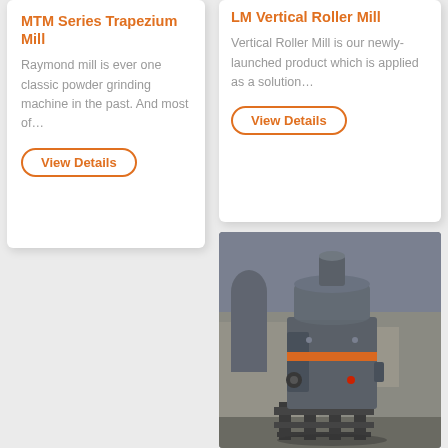MTM Series Trapezium Mill
Raymond mill is ever one classic powder grinding machine in the past. And most of…
View Details
LM Vertical Roller Mill
Vertical Roller Mill is our newly-launched product which is applied as a solution…
View Details
[Figure (photo): Industrial vertical roller mill / grinding machine photographed in a factory setting. Large gray cylindrical machine with orange accent stripe, mounted on a metal frame stand.]